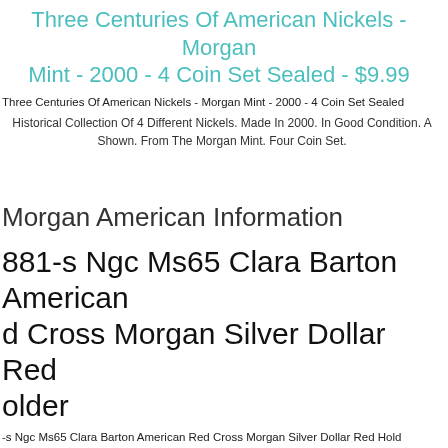Three Centuries Of American Nickels - Morgan Mint - 2000 - 4 Coin Set Sealed - $9.99
Three Centuries Of American Nickels - Morgan Mint - 2000 - 4 Coin Set Sealed
Historical Collection Of 4 Different Nickels. Made In 2000. In Good Condition. As Shown. From The Morgan Mint. Four Coin Set.
Morgan American Information
1881-s Ngc Ms65 Clara Barton American Red Cross Morgan Silver Dollar Red Holder
1881-s Ngc Ms65 Clara Barton American Red Cross Morgan Silver Dollar Red Holder
1 Oz Silver American Eagle W/ Ogp Morgan Mint Stamp Rare.